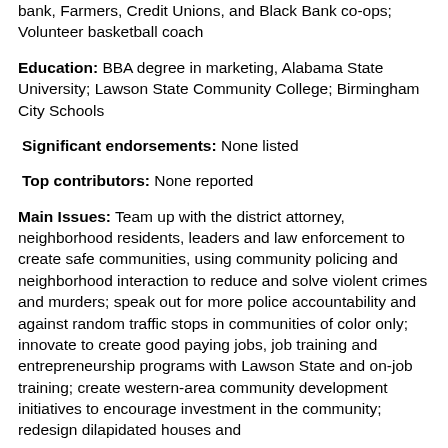bank, Farmers, Credit Unions, and Black Bank co-ops; Volunteer basketball coach
Education: BBA degree in marketing, Alabama State University; Lawson State Community College; Birmingham City Schools
Significant endorsements: None listed
Top contributors: None reported
Main Issues: Team up with the district attorney, neighborhood residents, leaders and law enforcement to create safe communities, using community policing and neighborhood interaction to reduce and solve violent crimes and murders; speak out for more police accountability and against random traffic stops in communities of color only; innovate to create good paying jobs, job training and entrepreneurship programs with Lawson State and on-job training; create western-area community development initiatives to encourage investment in the community; redesign dilapidated houses and